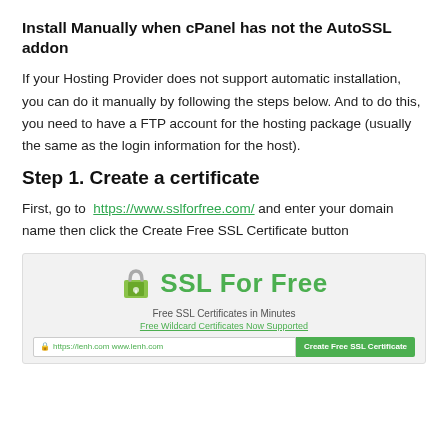Install Manually when cPanel has not the AutoSSL addon
If your Hosting Provider does not support automatic installation, you can do it manually by following the steps below. And to do this, you need to have a FTP account for the hosting package (usually the same as the login information for the host).
Step 1. Create a certificate
First, go to  https://www.sslforfree.com/ and enter your domain name then click the Create Free SSL Certificate button
[Figure (screenshot): Screenshot of sslforfree.com website showing SSL For Free logo with a green padlock icon, tagline 'Free SSL Certificates in Minutes', 'Free Wildcard Certificates Now Supported' link, a domain input field, and a green 'Create Free SSL Certificate' button.]